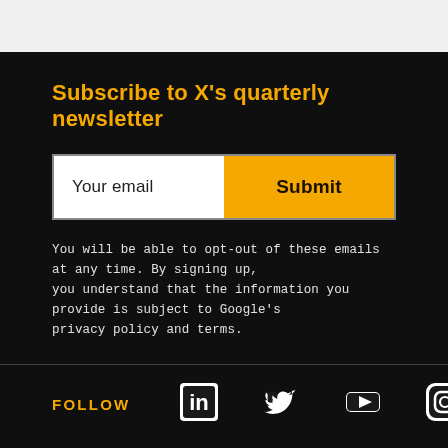Subscribe to X's quarterly newsletter
Your email
Submit
You will be able to opt-out of these emails at any time. By signing up, you understand that the information you provide is subject to Google's privacy policy and terms.
FOLLOW
[Figure (logo): LinkedIn, Twitter, YouTube, and Instagram social media icons in white]
PRIVACY + TERMS   GOOGLE   ALPHABET
X, a division of Google LLC. All rights reserved.